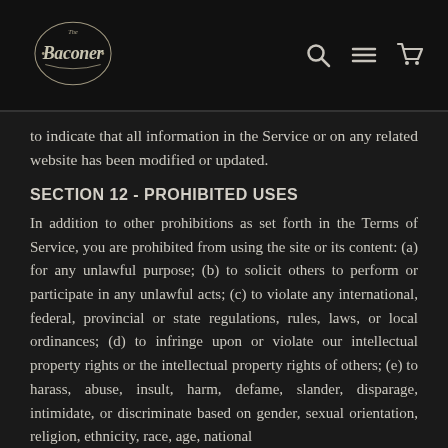The Baconer [logo] [search icon] [menu icon] [cart icon]
to indicate that all information in the Service or on any related website has been modified or updated.
SECTION 12 - PROHIBITED USES
In addition to other prohibitions as set forth in the Terms of Service, you are prohibited from using the site or its content: (a) for any unlawful purpose; (b) to solicit others to perform or participate in any unlawful acts; (c) to violate any international, federal, provincial or state regulations, rules, laws, or local ordinances; (d) to infringe upon or violate our intellectual property rights or the intellectual property rights of others; (e) to harass, abuse, insult, harm, defame, slander, disparage, intimidate, or discriminate based on gender, sexual orientation, religion, ethnicity, race, age, national